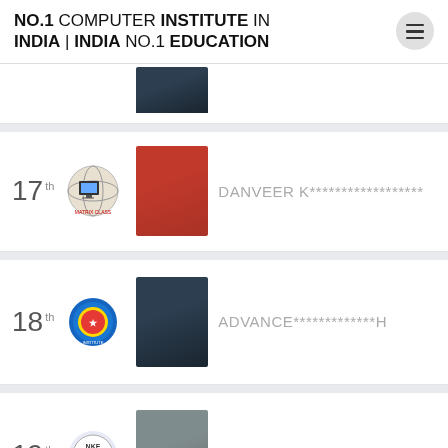NO.1 COMPUTER INSTITUTE IN INDIA | INDIA NO.1 EDUCATION
17th — DANVEER K******************
18th — ADVANCE*************H
19th — NATIONAL I******************
20th — E-MAX *************A